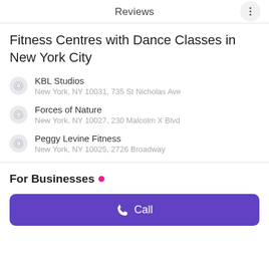Reviews
Fitness Centres with Dance Classes in New York City
KBL Studios
New York, NY 10031, 735 St Nicholas Ave
Forces of Nature
New York, NY 10027, 230 Malcolm X Blvd
Peggy Levine Fitness
New York, NY 10025, 2726 Broadway
For Businesses
Call